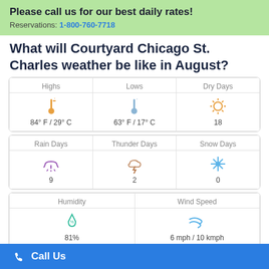Please call us for our best daily rates!
Reservations: 1-800-760-7718
What will Courtyard Chicago St. Charles weather be like in August?
| Highs | Lows | Dry Days |
| --- | --- | --- |
| 84° F / 29° C | 63° F / 17° C | 18 |
| Rain Days | Thunder Days | Snow Days |
| --- | --- | --- |
| 9 | 2 | 0 |
| Humidity | Wind Speed |
| --- | --- |
| 81% | 6 mph / 10 kmph |
Courtyard Chicago St. Charles temperature by month
Highs    Lows
Call Us